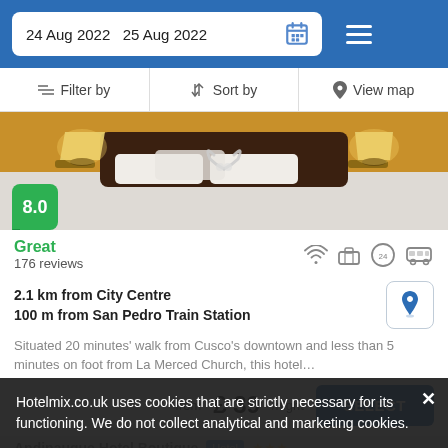24 Aug 2022  25 Aug 2022
Filter by  Sort by  View map
[Figure (photo): Hotel room photo showing a bed with heart decoration made from white towels, flanked by two bedside lamps with warm amber lighting. Score badge showing 8.0 in green.]
Great
176 reviews
2.1 km from City Centre
100 m from San Pedro Train Station
Situated 20 minutes' walk from Cusco's downtown and less than 5 minutes on foot from La Merced Church, this hotel…
from £ 39/night
SELECT
Hotelmix.co.uk uses cookies that are strictly necessary for its functioning. We do not collect analytical and marketing cookies.
Andinauque Hotel Boutique
Hotel